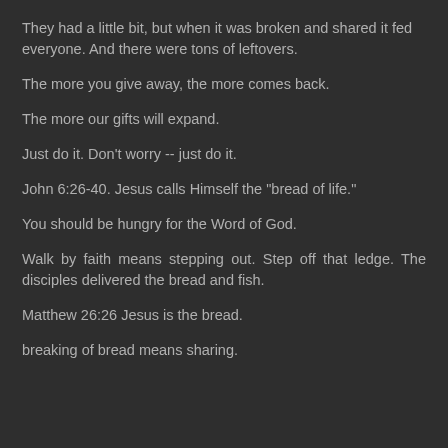They had a little bit, but when it was broken and shared it fed everyone. And there were tons of leftovers.
The more you give away, the more comes back.
The more our gifts will expand.
Just do it. Don't worry -- just do it.
John 6:26-40. Jesus calls Himself the "bread of life."
You should be hungry for the Word of God.
Walk by faith means stepping out. Step off that ledge. The disciples delivered the bread and fish.
Matthew 26:26 Jesus is the bread.
breaking of bread means sharing.